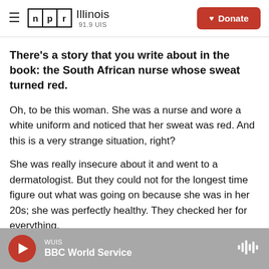NPR Illinois 91.9 UIS | Donate
There's a story that you write about in the book: the South African nurse whose sweat turned red.
Oh, to be this woman. She was a nurse and wore a white uniform and noticed that her sweat was red. And this is a very strange situation, right?
She was really insecure about it and went to a dermatologist. But they could not for the longest time figure out what was going on because she was in her 20s; she was perfectly healthy. They checked her for everything.
WUIS | BBC World Service